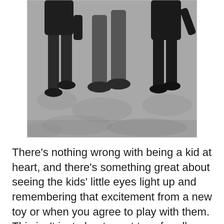[Figure (photo): Black and white photograph showing the legs and feet of an adult walking with two young children on a grassy surface, viewed from behind.]
There's nothing wrong with being a kid at heart, and there's something great about seeing the kids' little eyes light up and remembering that excitement from a new toy or when you agree to play with them. This isn't just about great toys for all our kids, but for taking a look at toys for those of us parents who remain children at